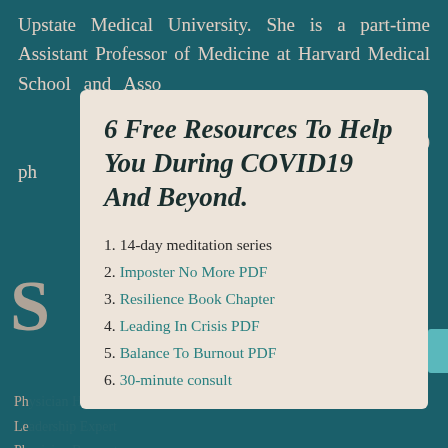Upstate Medical University. She is a part-time Assistant Professor of Medicine at Harvard Medical School and Associate physician at Brigham and Women's Hospital. A physician health expert, National Coach ... 500 physicians ...
6 Free Resources To Help You During COVID19 And Beyond.
1. 14-day meditation series
2. Imposter No More PDF
3. Resilience Book Chapter
4. Leading In Crisis PDF
5. Balance To Burnout PDF
6. 30-minute consult